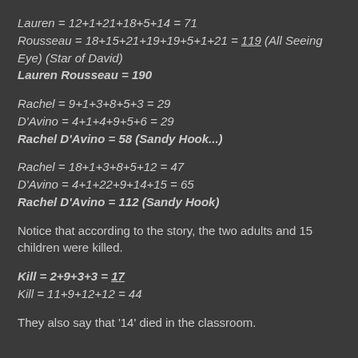Lauren = 12+1+21+18+5+14 = 71
Rousseau = 18+15+21+19+19+5+1+21 = 119 (All Seeing Eye) (Star of David)
Lauren Rousseau = 190
Rachel = 9+1+3+8+5+3 = 29
D'Avino = 4+1+4+9+5+6 = 29
Rachel D'Avino = 58 (Sandy Hook...)
Rachel = 18+1+3+8+5+12 = 47
D'Avino = 4+1+22+9+14+15 = 65
Rachel D'Avino = 112 (Sandy Hook)
Notice that according to the story, the two adults and 15 children were killed.
Kill = 2+9+3+3 = 17
Kill = 11+9+12+12 = 44
They also say that '14' died in the classroom.